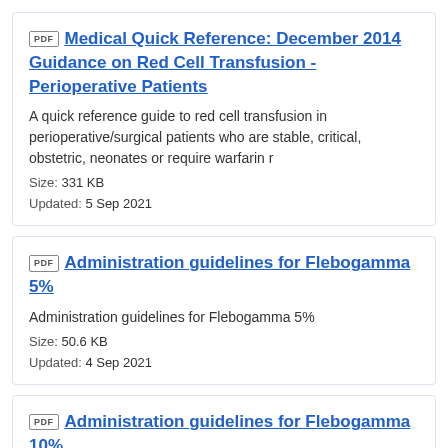Medical Quick Reference: December 2014 Guidance on Red Cell Transfusion - Perioperative Patients
A quick reference guide to red cell transfusion in perioperative/surgical patients who are stable, critical, obstetric, neonates or require warfarin r
Size: 331 KB
Updated: 5 Sep 2021
Administration guidelines for Flebogamma 5%
Administration guidelines for Flebogamma 5%
Size: 50.6 KB
Updated: 4 Sep 2021
Administration guidelines for Flebogamma 10%
Administration guidelines for Flebogamma 10%
Size: 51 KB